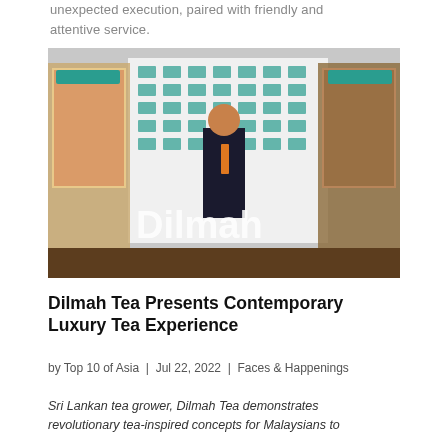unexpected execution, paired with friendly and attentive service.
[Figure (photo): A man in a dark suit with an orange tie stands in front of a branded Dilmah Tea backdrop inside a store display with illuminated booth panels on both sides showing tea imagery.]
Dilmah Tea Presents Contemporary Luxury Tea Experience
by Top 10 of Asia  |  Jul 22, 2022  |  Faces & Happenings
Sri Lankan tea grower, Dilmah Tea demonstrates revolutionary tea-inspired concepts for Malaysians to